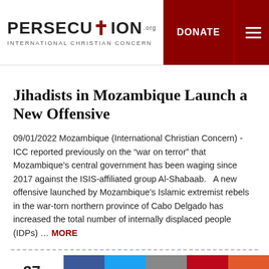PERSECUTION.org - INTERNATIONAL CHRISTIAN CONCERN | DONATE
Jihadists in Mozambique Launch a New Offensive
09/01/2022 Mozambique (International Christian Concern) - ICC reported previously on the “war on terror” that Mozambique’s central government has been waging since 2017 against the ISIS-affiliated group Al-Shabaab.   A new offensive launched by Mozambique’s Islamic extremist rebels in the war-torn northern province of Cabo Delgado has increased the total number of internally displaced people (IDPs) ... MORE
27 SHARES